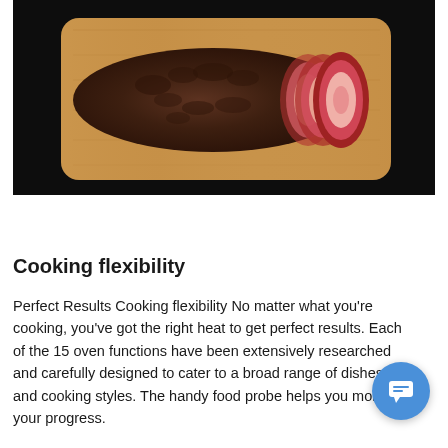[Figure (photo): A roasted beef tenderloin partially sliced on a wooden cutting board against a dark background, showing pink medium-rare interior.]
Cooking flexibility
Perfect Results Cooking flexibility No matter what you're cooking, you've got the right heat to get perfect results. Each of the 15 oven functions have been extensively researched and carefully designed to cater to a broad range of dishes and cooking styles. The handy food probe helps you monitor your progress.